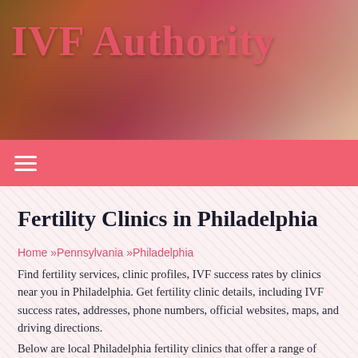[Figure (photo): Website header banner with food/floral background image and 'IVF Authority' title text in salmon/coral color]
IVF Authority
≡ (hamburger menu icon)
Fertility Clinics in Philadelphia
Home »Pennsylvania »Philadelphia
Find fertility services, clinic profiles, IVF success rates by clinics near you in Philadelphia. Get fertility clinic details, including IVF success rates, addresses, phone numbers, official websites, maps, and driving directions.
Below are local Philadelphia fertility clinics that offer a range of services, including IVF, IUI, artificial insemination, PGS/PGD,